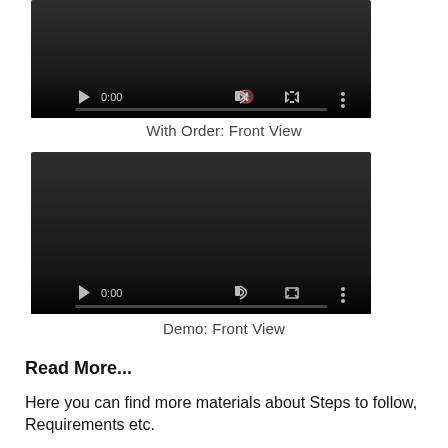[Figure (screenshot): Video player with dark background, play button, 0:00 time, mute icon, fullscreen icon, more options icon, and progress bar at bottom]
With Order: Front View
[Figure (screenshot): Video player with dark background, play button, 0:00 time, mute icon, fullscreen icon, more options icon, and progress bar at bottom]
Demo: Front View
Read More...
Here you can find more materials about Steps to follow, Requirements etc.